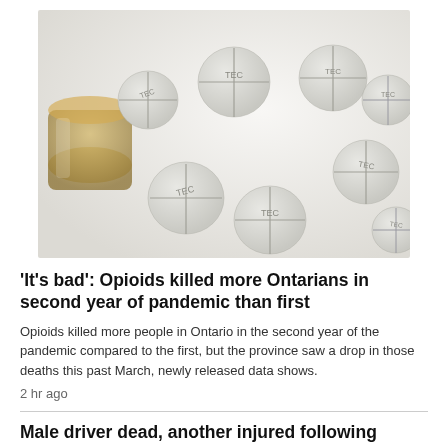[Figure (photo): Overhead close-up photo of multiple round white pharmaceutical tablets with 'TEC' imprinted and score lines, spilling out of a translucent amber prescription pill bottle onto a white surface.]
'It's bad': Opioids killed more Ontarians in second year of pandemic than first
Opioids killed more people in Ontario in the second year of the pandemic compared to the first, but the province saw a drop in those deaths this past March, newly released data shows.
2 hr ago
Male driver dead, another injured following